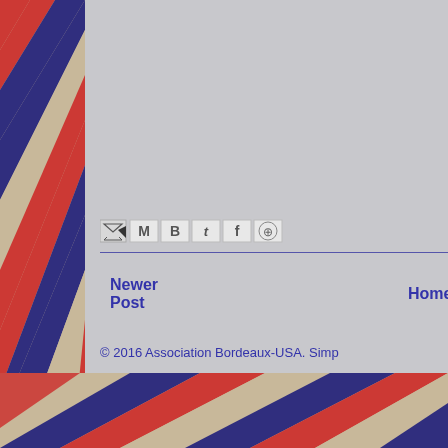[Figure (illustration): Red, white, and blue diagonal stripes decorative background on the left side and bottom of the page, resembling a French/American flag motif with a worn/vintage texture.]
[Figure (illustration): Row of social sharing icons: email forward icon, Gmail M icon, Blogger B icon, Twitter bird icon, Facebook f icon, Pinterest P icon.]
Newer Post
Home
© 2016 Association Bordeaux-USA. Simp